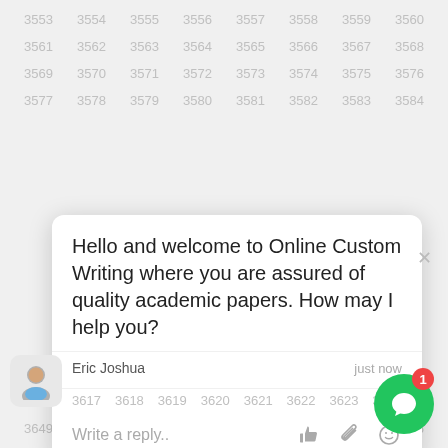[Figure (screenshot): Background grid of grey numbers from 3553 to 3656, with a live chat popup overlay showing a welcome message from Eric Joshua, a reply input row, and a green chat bubble button with red notification badge showing 1.]
Hello and welcome to Online Custom Writing where you are assured of quality academic papers. How may I help you?
Eric Joshua    just now
Write a reply..